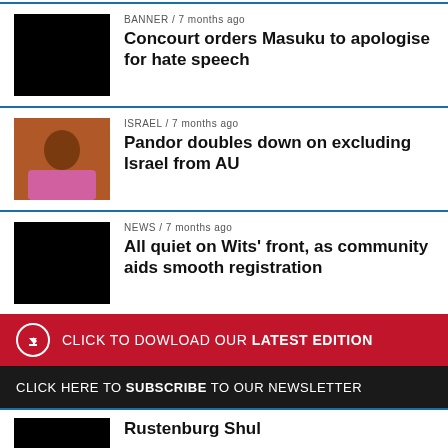[Figure (photo): Black thumbnail image for Banner article]
BANNER / 7 months ago
Concourt orders Masuku to apologise for hate speech
[Figure (photo): Photo of a woman in pink jacket clapping, for Israel article]
ISRAEL / 7 months ago
Pandor doubles down on excluding Israel from AU
[Figure (photo): Black thumbnail image for News article]
NEWS / 7 months ago
All quiet on Wits' front, as community aids smooth registration
CLICK TO DOWLOAD OUR LATEST EDITION
CLICK HERE TO SUBSCRIBE TO OUR NEWSLETTER
Rustenburg Shul